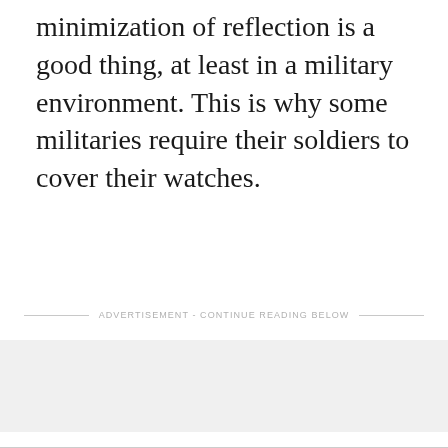minimization of reflection is a good thing, at least in a military environment. This is why some militaries require their soldiers to cover their watches.
ADVERTISEMENT - CONTINUE READING BELOW
[Figure (other): Advertisement placeholder area with light gray background]